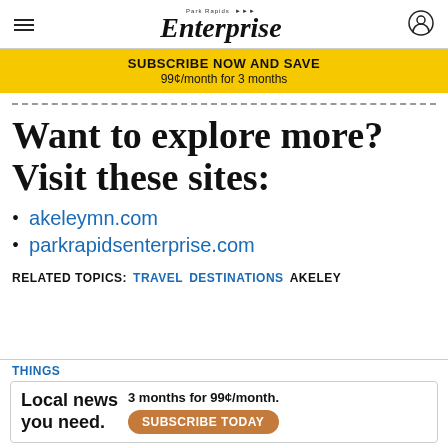Park Rapids Enterprise
SUBSCRIBE NOW AND SAVE
99¢/month for 3 months
Want to explore more? Visit these sites:
akeleymn.com
parkrapidsenterprise.com
RELATED TOPICS: TRAVEL DESTINATIONS AKELEY
THINGS
Local news you need. 3 months for 99¢/month. SUBSCRIBE TODAY